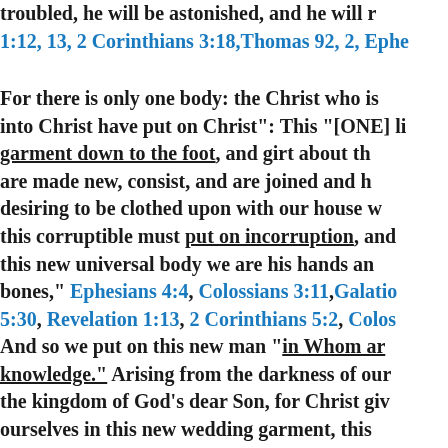troubled, he will be astonished, and he will r 1:12, 13, 2 Corinthians 3:18, Thomas 92, 2, Ephe
For there is only one body: the Christ who is into Christ have put on Christ": This "[ONE] li garment down to the foot, and girt about th are made new, consist, and are joined and h desiring to be clothed upon with our house w this corruptible must put on incorruption, an this new universal body we are his hands an bones," Ephesians 4:4, Colossians 3:11, Galatio 5:30, Revelation 1:13, 2 Corinthians 5:2, Colos
And so we put on this new man “in Whom ar knowledge.” Arising from the darkness of our the kingdom of God’s dear Son, for Christ giv ourselves in this new wedding garment, this in the light which no man can approach unto new body of light. Together, you are, and we 2:2, Ephesians 5:14, Colossians 1:12, 12, Page